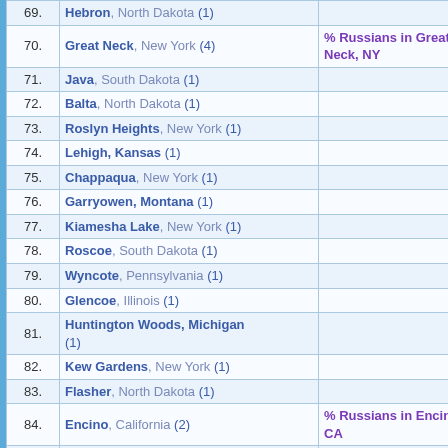| # | Place | Link |
| --- | --- | --- |
| 69. | Hebron, North Dakota (1) |  |
| 70. | Great Neck, New York (4) | % Russians in Great Neck, NY |
| 71. | Java, South Dakota (1) |  |
| 72. | Balta, North Dakota (1) |  |
| 73. | Roslyn Heights, New York (1) |  |
| 74. | Lehigh, Kansas (1) |  |
| 75. | Chappaqua, New York (1) |  |
| 76. | Garryowen, Montana (1) |  |
| 77. | Kiamesha Lake, New York (1) |  |
| 78. | Roscoe, South Dakota (1) |  |
| 79. | Wyncote, Pennsylvania (1) |  |
| 80. | Glencoe, Illinois (1) |  |
| 81. | Huntington Woods, Michigan (1) |  |
| 82. | Kew Gardens, New York (1) |  |
| 83. | Flasher, North Dakota (1) |  |
| 84. | Encino, California (2) | % Russians in Encino, CA |
| 85. | Newton Upper Falls, Massachusetts (1) |  |
| 86. | Goldens Bridge, New York (1) |  |
| 87. | Morganville, New Jersey (1) |  |
| 88. | Mandan, North Dakota (1) |  |
| 89. | Golden Valley, North Dakota (1) |  |
| 90. | Huntingdon Valley, Pennsylvania (1) |  |
| 91. | Mount Tremper, New York (1) |  |
| 92. | Ericho, New Jersey (1) |  |